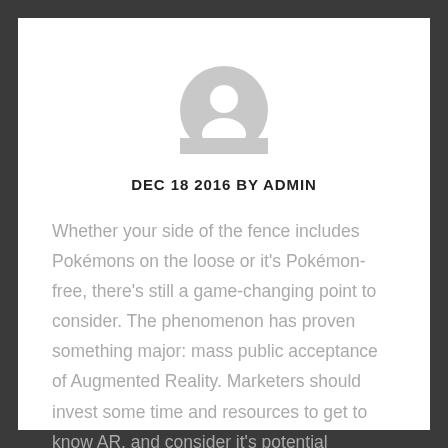[Figure (illustration): Generic user avatar icon — gray silhouette of a person (head and shoulders) in a circle]
DEC 18 2016 BY ADMIN
Whether your side of the fence includes Pokémons on the loose or it's Pokémon-free, there's still a game-changing point to consider. The phenomenon has proven something major: mass public acceptance of Augmented Reality. Marketers should invest some time and resources to get to know AR, and consider it's potential business implications.